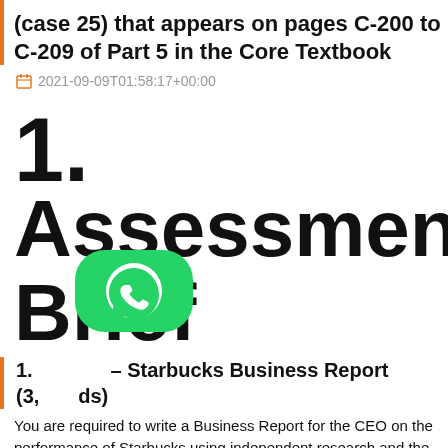(case 25) that appears on pages C-200 to C-209 of Part 5 in the Core Textbook
2021-09-09T01:58:17+00:00
1.
Assessment Brief
1. [WhatsApp icon] – Starbucks Business Report (3[,000 wor]ds)
You are required to write a Business Report for the CEO on the performance of Starbucks using independent research and the case study (case 25) that appears on pages C-200 to C-209 of Part 5 in the Core Textbook. Autumn term 2019: